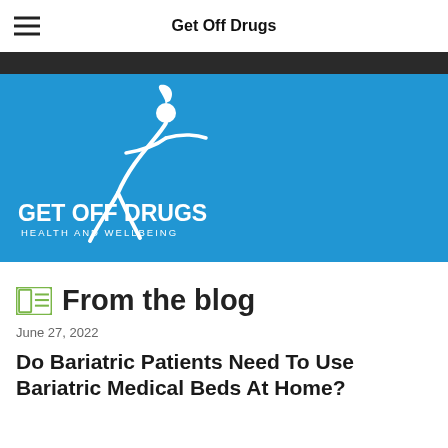Get Off Drugs
[Figure (logo): Get Off Drugs Health and Wellbeing logo — white figure holding a leaf on a blue background with text GET OFF DRUGS HEALTH AND WELLBEING]
From the blog
June 27, 2022
Do Bariatric Patients Need To Use Bariatric Medical Beds At Home?